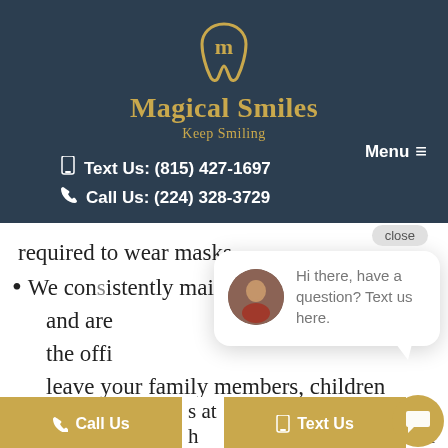[Figure (logo): Magical Smiles dental practice logo with gold tooth icon, brand name 'Magical Smiles', and tagline 'Keep Smiling' on dark navy background]
Text Us: (815) 427-1697
Call Us: (224) 328-3729
Menu
required to wear masks.
We consistently maintaining vigilance and are ... the offi... leave your family members, children
[Figure (screenshot): Chat popup with avatar photo of a woman and text 'Hi there, have a question? Text us here.' with a close button]
at h... your den... appointment.
Call Us
Text Us